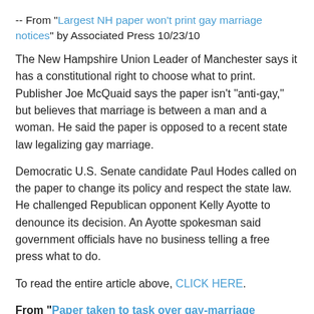-- From "Largest NH paper won't print gay marriage notices" by Associated Press 10/23/10
The New Hampshire Union Leader of Manchester says it has a constitutional right to choose what to print. Publisher Joe McQuaid says the paper isn't "anti-gay," but believes that marriage is between a man and a woman. He said the paper is opposed to a recent state law legalizing gay marriage.
Democratic U.S. Senate candidate Paul Hodes called on the paper to change its policy and respect the state law. He challenged Republican opponent Kelly Ayotte to denounce its decision. An Ayotte spokesman said government officials have no business telling a free press what to do.
To read the entire article above, CLICK HERE.
From "Paper taken to task over gay-marriage stance" by Jenna Staul, Keene Sentinel Staff 10/23/10
Hodes said Union Leader Editor Joseph W. McQuaid "should